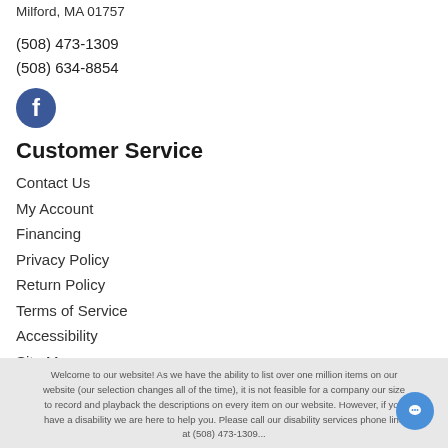Milford, MA 01757
(508) 473-1309
(508) 634-8854
[Figure (logo): Facebook logo icon - blue circle with white 'f']
Customer Service
Contact Us
My Account
Financing
Privacy Policy
Return Policy
Terms of Service
Accessibility
Site Map
Do Not Sell My Personal Information
Welcome to our website! As we have the ability to list over one million items on our website (our selection changes all of the time), it is not feasible for a company our size to record and playback the descriptions on every item on our website. However, if you have a disability we are here to help you. Please call our disability services phone line at (508) 473-1309...